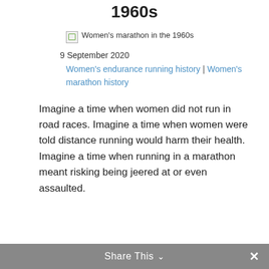1960s
[Figure (photo): Broken image placeholder with alt text: Women's marathon in the 1960s]
9 September 2020
Women's endurance running history | Women's marathon history
Imagine a time when women did not run in road races. Imagine a time when women were told distance running would harm their health. Imagine a time when running in a marathon meant risking being jeered at or even assaulted.
Share This  ×